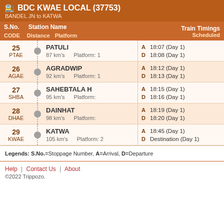BDC KWAE LOCAL (37753)
BANDEL JN to KATWA
| S.No. / CODE | Station Name / Distance / Platform | Train Timings Scheduled |
| --- | --- | --- |
| 25 PTAE | PATULI
87 km's   Platform: 1 | A 18:07 (Day 1)
D 18:08 (Day 1) |
| 26 AGAE | AGRADWIP
92 km's   Platform: 1 | A 18:12 (Day 1)
D 18:13 (Day 1) |
| 27 SHBA | SAHEBTALA H
95 km's   Platform: | A 18:15 (Day 1)
D 18:16 (Day 1) |
| 28 DHAE | DAINHAT
98 km's   Platform: | A 18:19 (Day 1)
D 18:20 (Day 1) |
| 29 KWAE | KATWA
105 km's   Platform: 2 | A 18:45 (Day 1)
D Destination (Day 1) |
Legends: S.No.=Stoppage Number, A=Arrival, D=Departure
Help  |  Contact Us  |  About
©2022 Trippozo.